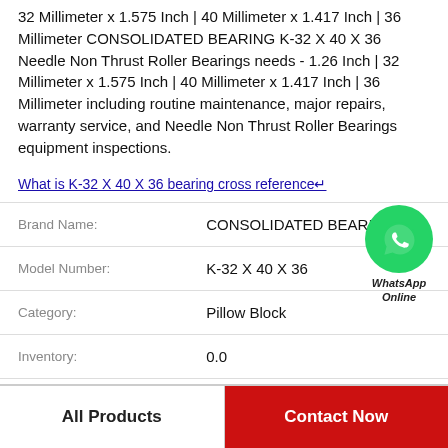32 Millimeter x 1.575 Inch | 40 Millimeter x 1.417 Inch | 36 Millimeter CONSOLIDATED BEARING K-32 X 40 X 36 Needle Non Thrust Roller Bearings needs - 1.26 Inch | 32 Millimeter x 1.575 Inch | 40 Millimeter x 1.417 Inch | 36 Millimeter including routine maintenance, major repairs, warranty service, and Needle Non Thrust Roller Bearings equipment inspections.
What is K-32 X 40 X 36 bearing cross reference?
| Field | Value |
| --- | --- |
| Brand Name: | CONSOLIDATED BEARING |
| Model Number: | K-32 X 40 X 36 |
| Category: | Pillow Block |
| Inventory: | 0.0 |
| Minimum Buy Quantity: | N/A |
[Figure (other): WhatsApp Online contact button - green circular icon with phone symbol, labeled WhatsApp Online]
All Products | Contact Now